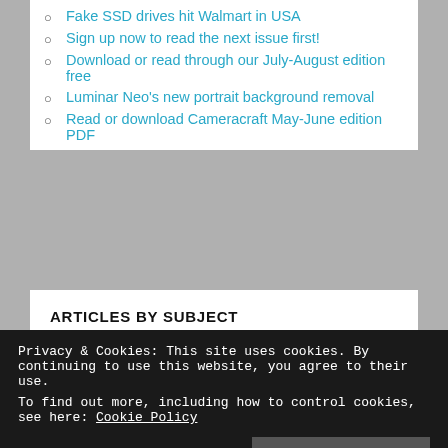Fake SSD drives hit Walmart in USA
Sign up now to read the next issue first!
Download or read through our July-August edition free
Luminar Neo's new portrait background removal
Read or download Cameracraft May-June edition PDF
ARTICLES BY SUBJECT
Select Category
ARTICLES BY DATE
Privacy & Cookies: This site uses cookies. By continuing to use this website, you agree to their use.
To find out more, including how to control cookies, see here: Cookie Policy
Close and accept